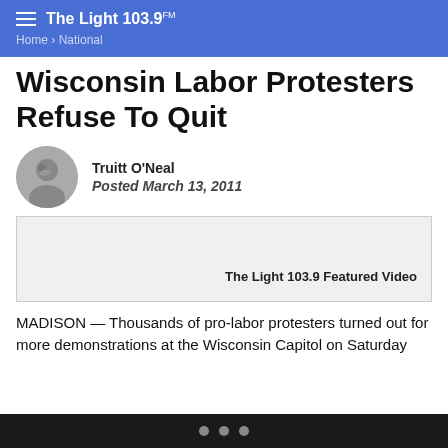The Light 103.9 FM — Home › National
Wisconsin Labor Protesters Refuse To Quit
Truitt O'Neal
Posted March 13, 2011
[Figure (screenshot): Video embed placeholder labeled 'The Light 103.9 Featured Video']
MADISON — Thousands of pro-labor protesters turned out for more demonstrations at the Wisconsin Capitol on Saturday